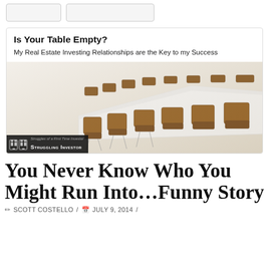[Figure (other): Two placeholder button/card outlines at the top of the page]
[Figure (photo): Blog post preview card showing 'Is Your Table Empty?' title with subtitle 'My Real Estate Investing Relationships are the Key to my Success', and a photo of a long white conference table surrounded by brown leather office chairs, with Struggling Investor logo in bottom left corner]
You Never Know Who You Might Run Into...Funny Story
SCOTT COSTELLO / JULY 9, 2014 /